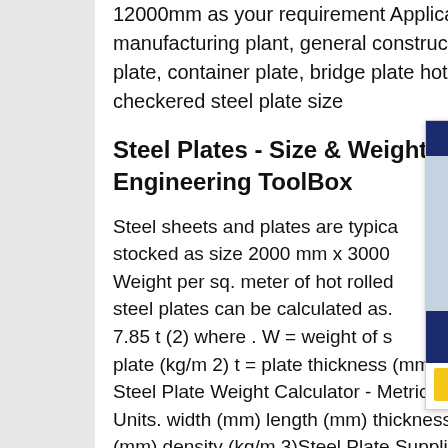12000mm as your requirement Application manufacturing plant, general construction, boiler plate, container plate, bridge plate hot rolled checkered steel plate size
Steel Plates - Size & Weight - Engineering ToolBox
Steel sheets and plates are typically stocked as size 2000 mm x 3000 mm. Weight per sq. meter of hot rolled steel plates can be calculated as. 7.85 t (2) where . W = weight of steel plate (kg/m 2) t = plate thickness (mm) Steel Plate Weight Calculator - Metric Units. width (mm) length (mm) thickness (mm) density (kg/m 3)Steel Plate Supplier See Sizes and PricesWe have de-coiling and cut-to-length facilities to produce
[Figure (other): Customer service representative advertisement banner with '7X24 Online' header, photo of a woman wearing a headset, text 'Hello,may I help you?' and a 'Get Latest Price' button]